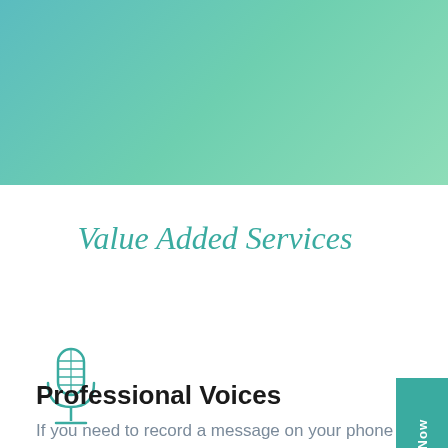[Figure (illustration): Teal/green gradient header background banner]
Value Added Services
[Figure (illustration): Microphone icon in teal outline style]
Professional Voices
If you need to record a message on your phone service and would like a professional voice over to record the